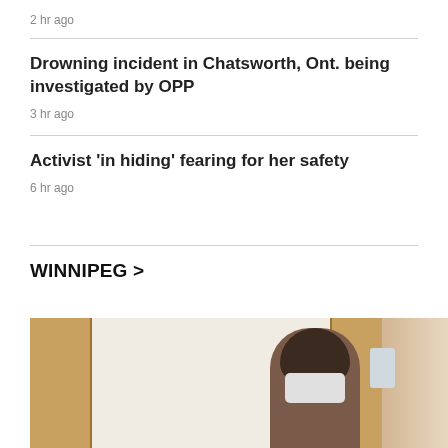2 hr ago
Drowning incident in Chatsworth, Ont. being investigated by OPP
3 hr ago
Activist 'in hiding' fearing for her safety
6 hr ago
WINNIPEG >
[Figure (photo): A person wearing a mask and a hair bun, photographed indoors near a wooden door frame.]